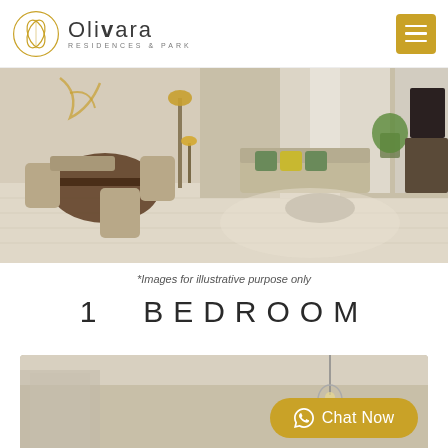[Figure (logo): Olivara Residences & Park logo with circular leaf emblem]
[Figure (photo): Interior photo of a modern living and dining room with beige tones, green cushions, pendant lamp, and large windows with sheer curtains]
*Images for illustrative purpose only
1 BEDROOM
[Figure (photo): Partial interior photo of a bedroom or hallway with warm beige tones and a pendant light]
Chat Now